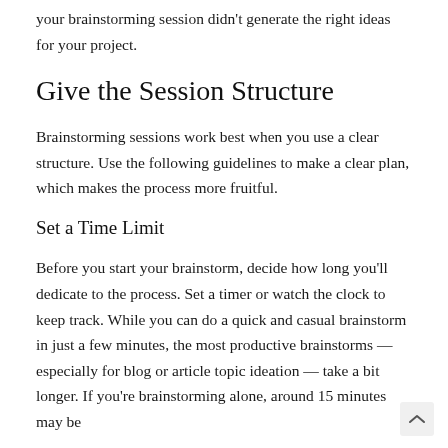your brainstorming session didn't generate the right ideas for your project.
Give the Session Structure
Brainstorming sessions work best when you use a clear structure. Use the following guidelines to make a clear plan, which makes the process more fruitful.
Set a Time Limit
Before you start your brainstorm, decide how long you'll dedicate to the process. Set a timer or watch the clock to keep track. While you can do a quick and casual brainstorm in just a few minutes, the most productive brainstorms — especially for blog or article topic ideation — take a bit longer. If you're brainstorming alone, around 15 minutes may be